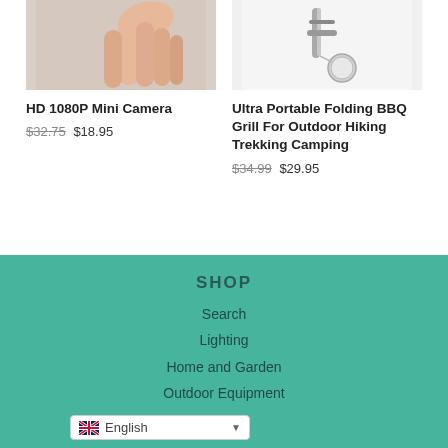[Figure (photo): Close-up photo of a hand/finger, product image for HD 1080P Mini Camera]
HD 1080P Mini Camera
$32.75 $18.95
[Figure (photo): Photo of a small portable BBQ grill device with coin for scale]
Ultra Portable Folding BBQ Grill For Outdoor Hiking Trekking Camping
$34.99 $29.95
SHOP
Search
Lighting
Home and Garden
Outdoor Equipment
Beauty
English